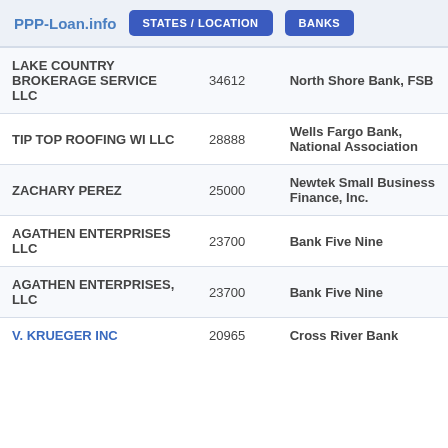PPP-Loan.info  STATES / LOCATION  BANKS
| Business Name | Amount | Bank |
| --- | --- | --- |
| LAKE COUNTRY BROKERAGE SERVICE LLC | 34612 | North Shore Bank, FSB |
| TIP TOP ROOFING WI LLC | 28888 | Wells Fargo Bank, National Association |
| ZACHARY PEREZ | 25000 | Newtek Small Business Finance, Inc. |
| AGATHEN ENTERPRISES LLC | 23700 | Bank Five Nine |
| AGATHEN ENTERPRISES, LLC | 23700 | Bank Five Nine |
| V. KRUEGER INC | 20965 | Cross River Bank |